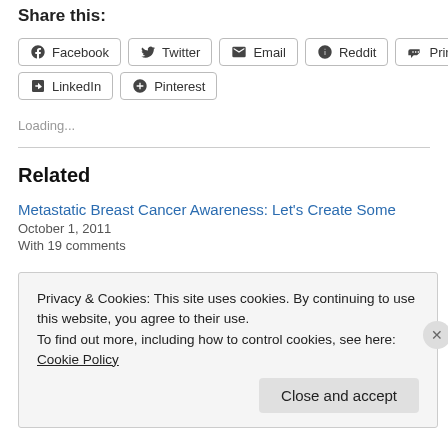Share this:
Facebook  Twitter  Email  Reddit  Print  LinkedIn  Pinterest
Loading...
Related
Metastatic Breast Cancer Awareness: Let's Create Some
October 1, 2011
With 19 comments
Privacy & Cookies: This site uses cookies. By continuing to use this website, you agree to their use.
To find out more, including how to control cookies, see here: Cookie Policy